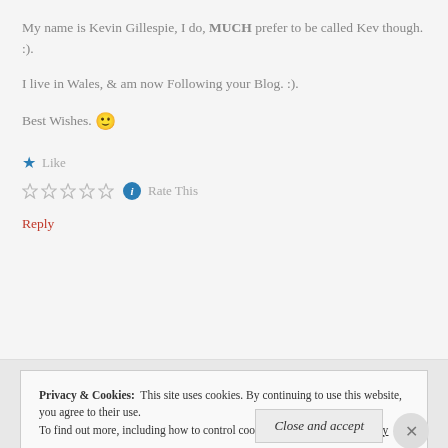My name is Kevin Gillespie, I do, MUCH prefer to be called Kev though. :).
I live in Wales, & am now Following your Blog. :).
Best Wishes. 🙂
★ Like
☆☆☆☆☆ ℹ Rate This
Reply
Privacy & Cookies:  This site uses cookies. By continuing to use this website, you agree to their use. To find out more, including how to control cookies, see here: Cookie Policy
Close and accept